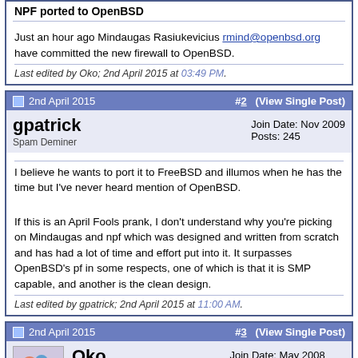NPF ported to OpenBSD
Just an hour ago Mindaugas Rasiukevicius rmind@openbsd.org have committed the new firewall to OpenBSD.
Last edited by Oko; 2nd April 2015 at 03:49 PM.
2nd April 2015  #2  (View Single Post)
gpatrick
Spam Deminer
Join Date: Nov 2009
Posts: 245
I believe he wants to port it to FreeBSD and illumos when he has the time but I've never heard mention of OpenBSD.

If this is an April Fools prank, I don't understand why you're picking on Mindaugas and npf which was designed and written from scratch and has had a lot of time and effort put into it. It surpasses OpenBSD's pf in some respects, one of which is that it is SMP capable, and another is the clean design.
Last edited by gpatrick; 2nd April 2015 at 11:00 AM.
2nd April 2015  #3  (View Single Post)
Oko
Join Date: May 2008
Location: Kosovo, Serbia